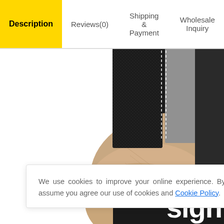Description
Reviews(0)
Shipping & Payment
Wholesale Inquiry
[Figure (photo): Close-up photo of a person's wrist/hand holding a black and gray leather wallet or card holder, shown against a dark background. Floating circular UI buttons (back-to-top, cart, customer service, QR code, messenger) visible on the right side.]
We use cookies to improve your online experience. By continuing browsing this website, we assume you agree our use of cookies and Cookie Policy.